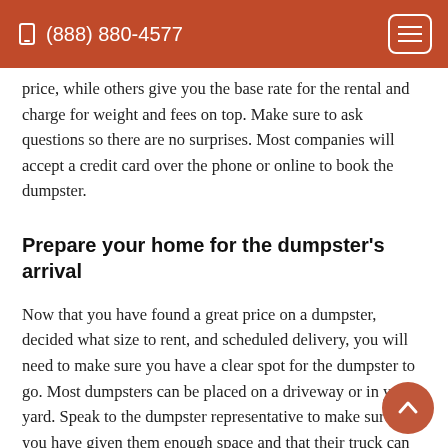(888) 880-4577
price, while others give you the base rate for the rental and charge for weight and fees on top. Make sure to ask questions so there are no surprises. Most companies will accept a credit card over the phone or online to book the dumpster.
Prepare your home for the dumpster’s arrival
Now that you have found a great price on a dumpster, decided what size to rent, and scheduled delivery, you will need to make sure you have a clear spot for the dumpster to go. Most dumpsters can be placed on a driveway or in your yard. Speak to the dumpster representative to make sure that you have given them enough space and that their truck can properly load and unload your dumpster.